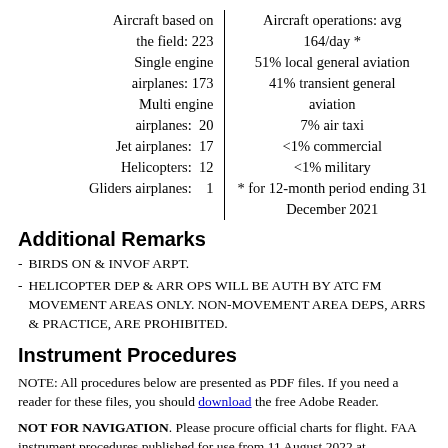| Aircraft Info | Operations Info |
| --- | --- |
| Aircraft based on the field: 223 | Aircraft operations: avg 164/day * |
| Single engine airplanes: 173 | 51% local general aviation |
| Multi engine airplanes: 20 | 41% transient general aviation |
| Jet airplanes: 17 | 7% air taxi |
| Helicopters: 12 | <1% commercial |
| Gliders airplanes: 1 | <1% military |
|  | * for 12-month period ending 31 December 2021 |
Additional Remarks
BIRDS ON & INVOF ARPT.
HELICOPTER DEP & ARR OPS WILL BE AUTH BY ATC FM MOVEMENT AREAS ONLY. NON-MOVEMENT AREA DEPS, ARRS & PRACTICE, ARE PROHIBITED.
Instrument Procedures
NOTE: All procedures below are presented as PDF files. If you need a reader for these files, you should download the free Adobe Reader.
NOT FOR NAVIGATION. Please procure official charts for flight. FAA instrument procedures published for use from 11 August 2022 at